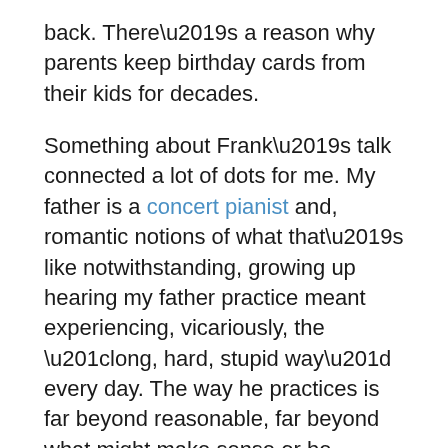back. There’s a reason why parents keep birthday cards from their kids for decades.
Something about Frank’s talk connected a lot of dots for me. My father is a concert pianist and, romantic notions of what that’s like notwithstanding, growing up hearing my father practice meant experiencing, vicariously, the “long, hard, stupid way” every day. The way he practices is far beyond reasonable, far beyond what might make sense or be efficient by any objective standard. It is about perfection. It is based on drive and love and the pursuit of something that only he sees.
So, when I was in 6th grade, he was stuck on a particularly tricky passage of Beethoven’s